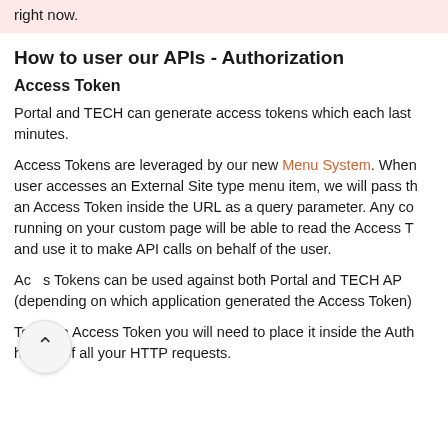right now.
How to user our APIs - Authorization
Access Token
Portal and TECH can generate access tokens which each last minutes.
Access Tokens are leveraged by our new Menu System. When user accesses an External Site type menu item, we will pass the an Access Token inside the URL as a query parameter. Any co running on your custom page will be able to read the Access To and use it to make API calls on behalf of the user.
Access Tokens can be used against both Portal and TECH API (depending on which application generated the Access Token)
To use a Access Token you will need to place it inside the Auth header of all your HTTP requests.